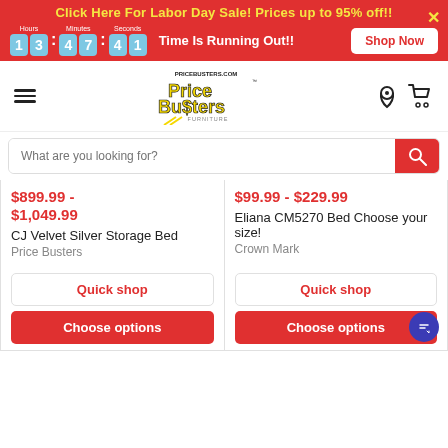Click Here For Labor Day Sale! Prices up to 95% off!! 13:47:41 Time Is Running Out!! Shop Now
[Figure (logo): PriceBusters.com Price Busters Furniture logo in yellow and black]
What are you looking for?
$899.99 - $1,049.99
CJ Velvet Silver Storage Bed
Price Busters
$99.99 - $229.99
Eliana CM5270 Bed Choose your size!
Crown Mark
Quick shop
Choose options
Quick shop
Choose options